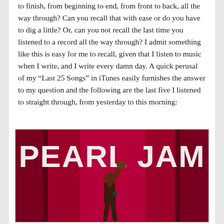to finish, from beginning to end, from front to back, all the way through? Can you recall that with ease or do you have to dig a little? Or, can you not recall the last time you listened to a record all the way through? I admit something like this is easy for me to recall, given that I listen to music when I write, and I write every damn day. A quick perusal of my “Last 25 Songs” in iTunes easily furnishes the answer to my question and the following are the last five I listened to straight through, from yesterday to this morning:
[Figure (photo): Album cover for Pearl Jam's 'Ten'. Bold white text reading 'PEARL JAM' on a dark red/crimson textured background with a figure raising a fist visible in the lower center.]